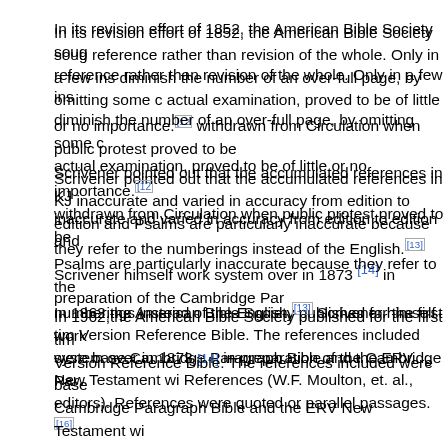In its revision effort of 1852, the American Bible Society sought reference rather than revision of the whole. Only in a few instances did diminish the number of an over-full page, by omitting some cross references actual examination, proved to be of little or no importance.[12] withdrawn from Circulation when public protest proved to be
Scrivener pointed out that the accumulated references in KJ inaccurate and varied in accuracy from edition to edition and Psalms are particularly inaccurate because they refer to the numberings instead of the English.[13] Scrivener himself work system over in 1873 [14] in preparation of the Cambridge Par
In 1962,the American Bible Society published for the first time Version Reference Bible. The references included were based Cambridge Paragraph Bible and the ERV New Testament with References (W.F. Moulton, et. al., editors). References were quoted or parallel passages.[16]
In their revision of 1881-85, the English revisers stated in the they used "Marginal references to other passages that are either parallel, or serve the purpose of illustrating or justifying a particular They further state in the preface to the Old Testament:
For the sake of facilitating the use of the Old Testament provided it with marginal references to parallel and illus